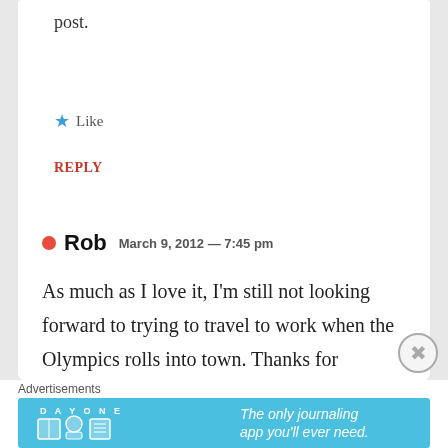post.
★ Like
REPLY
Rob  March 9, 2012 — 7:45 pm
As much as I love it, I'm still not looking forward to trying to travel to work when the Olympics rolls into town. Thanks for
Advertisements
[Figure (infographic): Day One app advertisement banner with blue background showing 'DAY ONE' text, three cartoon icons, and the text 'The only journaling app you'll ever need.']